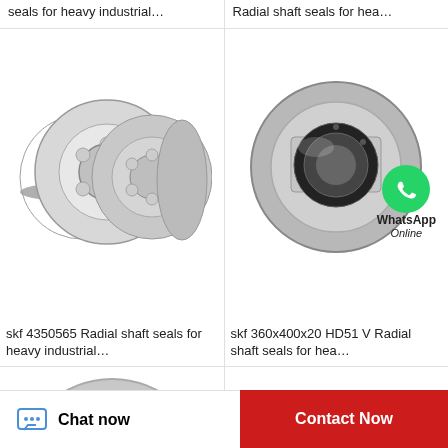seals for heavy industrial...
Radial shaft seals for hea...
[Figure (photo): Photo of SKF thrust ball bearings, stacked metallic bearings with ball cage visible]
skf 4350565 Radial shaft seals for heavy industrial…
[Figure (photo): Photo of SKF radial shaft seal, cylindrical metallic ring seal with WhatsApp icon overlay]
skf 360x400x20 HD51 V Radial shaft seals for hea…
[Figure (photo): Photo of a ball bearing, silver metallic ring bearing, partially visible]
[Figure (photo): Photo of two ball bearings side by side, partially visible at bottom right]
Chat now
Contact Now